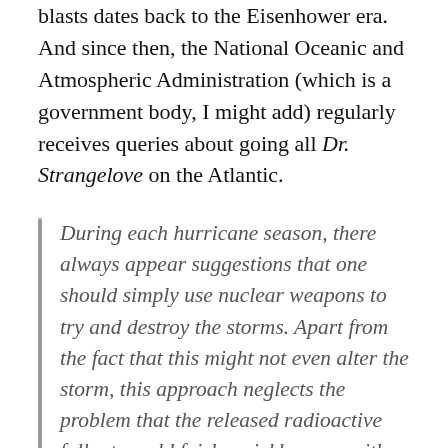blasts dates back to the Eisenhower era. And since then, the National Oceanic and Atmospheric Administration (which is a government body, I might add) regularly receives queries about going all Dr. Strangelove on the Atlantic.
During each hurricane season, there always appear suggestions that one should simply use nuclear weapons to try and destroy the storms. Apart from the fact that this might not even alter the storm, this approach neglects the problem that the released radioactive fallout would fairly quickly move with the tradewinds to affect land areas and cause devastating environmental